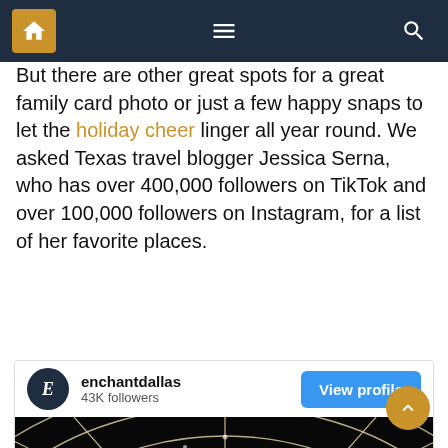Navigation bar with home, menu, and search icons
But there are other great spots for a great family card photo or just a few happy snaps to let the holiday cheer linger all year round. We asked Texas travel blogger Jessica Serna, who has over 400,000 followers on TikTok and over 100,000 followers on Instagram, for a list of her favorite places.
[Figure (screenshot): Instagram embed card for enchantdallas showing 43K followers with a View profile button and a photo of a large illuminated light tunnel or dome made of white string lights on a dark background]